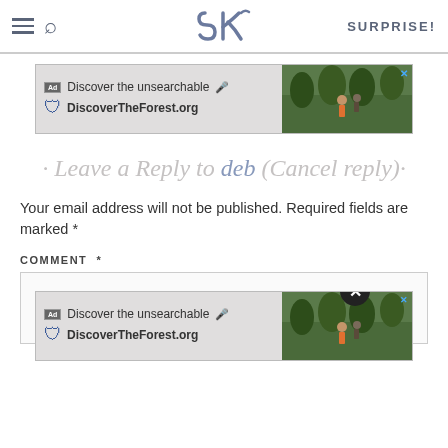SK | SURPRISE!
[Figure (screenshot): Ad banner: Discover the unsearchable – DiscoverTheForest.org with forest hiking image]
· Leave a Reply to deb (Cancel reply)·
Your email address will not be published. Required fields are marked *
COMMENT *
[Figure (screenshot): Ad banner bottom: Discover the unsearchable – DiscoverTheForest.org with forest hiking image and close button]